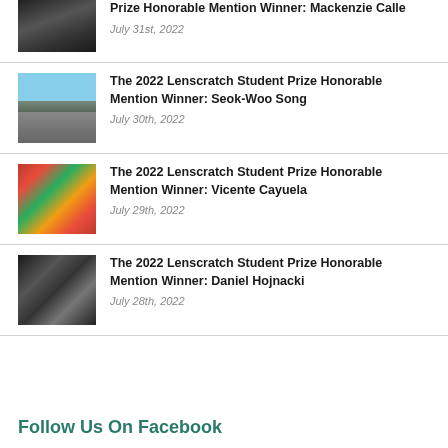Prize Honorable Mention Winner: Mackenzie Calle
July 31st, 2022
The 2022 Lenscratch Student Prize Honorable Mention Winner: Seok-Woo Song
July 30th, 2022
The 2022 Lenscratch Student Prize Honorable Mention Winner: Vicente Cayuela
July 29th, 2022
The 2022 Lenscratch Student Prize Honorable Mention Winner: Daniel Hojnacki
July 28th, 2022
Follow Us On Facebook